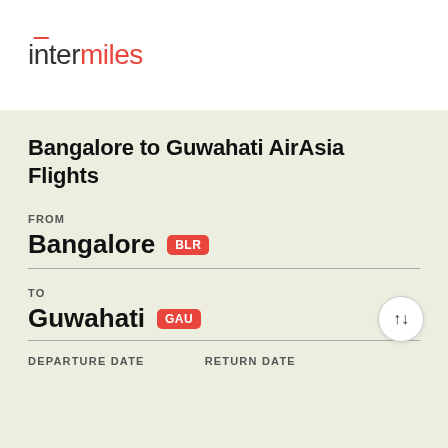[Figure (logo): InterMiles logo with red accent and overlined n]
Bangalore to Guwahati AirAsia Flights
FROM
Bangalore BLR
TO
Guwahati GAU
DEPARTURE DATE
RETURN DATE